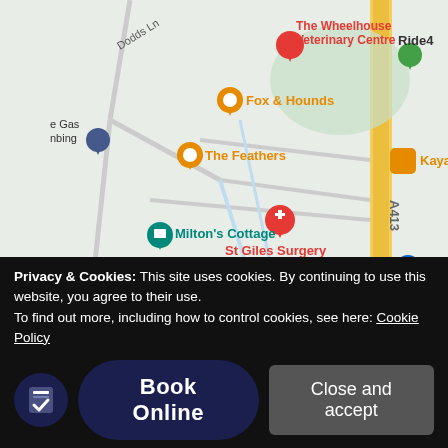[Figure (map): Google Maps screenshot showing Chalfont Saint Giles area with markers for: The Wheelhouse Veterinary Centre (red), Fox & Hounds (orange restaurant), The Feathers (orange restaurant), St Giles Surgery (red medical), Milton's Cottage (teal), Chalfont Saint Giles school (grey), a gas/plumbing business (blue), Ride4 (green), Kaya (orange restaurant), a blue shopping marker. Road A413 visible on right. Dodds Ln label top left.]
MSC Osteopathy - The Tilsworth Clinic
At Unlock Fitness
The Chiltern House
Privacy & Cookies: This site uses cookies. By continuing to use this website, you agree to their use.
To find out more, including how to control cookies, see here: Cookie Policy
Book Online
Close and accept
01494 980197